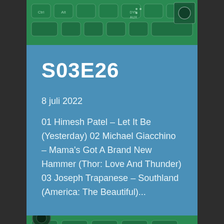[Figure (photo): Green-tinted photo of audio mixing board / keyboard controller from above]
S03E26
8 juli 2022
01 Himesh Patel - Let It Be (Yesterday) 02 Michael Giacchino - Mama's Got A Brand New Hammer (Thor: Love And Thunder) 03 Joseph Trapanese - Southland (America: The Beautiful)...
[Figure (photo): Green-tinted photo of audio mixing board / keyboard controller from above, bottom portion]